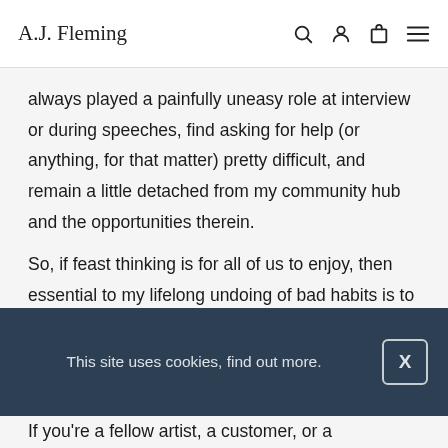A.J. Fleming
always played a painfully uneasy role at interview or during speeches, find asking for help (or anything, for that matter) pretty difficult, and remain a little detached from my community hub and the opportunities therein.
So, if feast thinking is for all of us to enjoy, then essential to my lifelong undoing of bad habits is to admit I need people's help quite
This site uses cookies, find out more.
If you're a fellow artist, a customer, or a